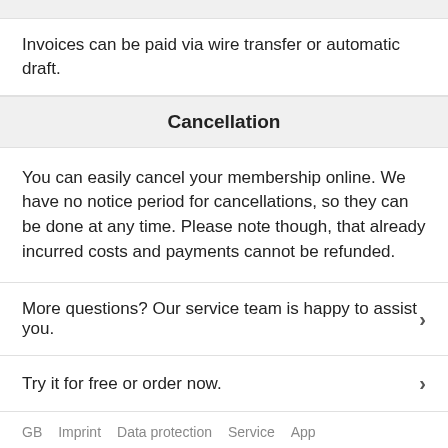Invoices can be paid via wire transfer or automatic draft.
Cancellation
You can easily cancel your membership online. We have no notice period for cancellations, so they can be done at any time. Please note though, that already incurred costs and payments cannot be refunded.
More questions? Our service team is happy to assist you.
Try it for free or order now.
GB  Imprint  Data protection  Service  App